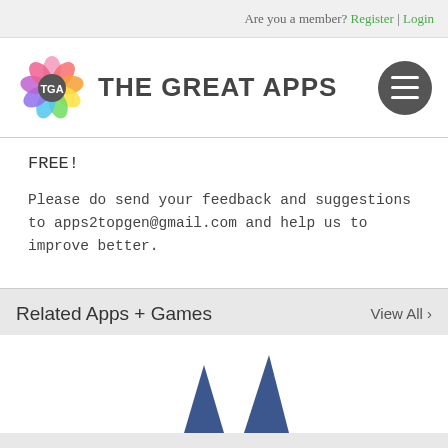Are you a member? Register | Login
[Figure (logo): The Great Apps logo with colorful flower and TGA emblem, with hamburger menu button on the right]
FREE!
Please do send your feedback and suggestions to apps2topgen@gmail.com and help us to improve better.
Related Apps + Games
View All >
[Figure (illustration): Partial illustration of an app icon or character visible at the bottom of the page]